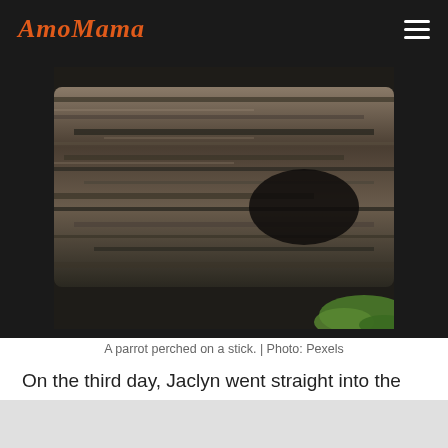AmoMama
[Figure (photo): A parrot perched on a stick — close-up of tree bark/log texture with dark background and hint of green foliage at bottom right.]
A parrot perched on a stick. | Photo: Pexels
On the third day, Jaclyn went straight into the store without giving the parrot a chance to say anything and threatened to sue the place if they didn't get their bird to stop slandering her.
The following day, the lady walked up to the bird with confidence. The parrot cocked its head and was ready to chat with Jaclyn again. He leaned in and